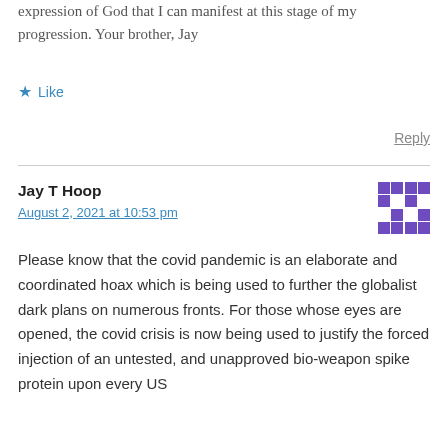expression of God that I can manifest at this stage of my progression. Your brother, Jay
★ Like
Reply
Jay T Hoop
August 2, 2021 at 10:53 pm
Please know that the covid pandemic is an elaborate and coordinated hoax which is being used to further the globalist dark plans on numerous fronts. For those whose eyes are opened, the covid crisis is now being used to justify the forced injection of an untested, and unapproved bio-weapon spike protein upon every US